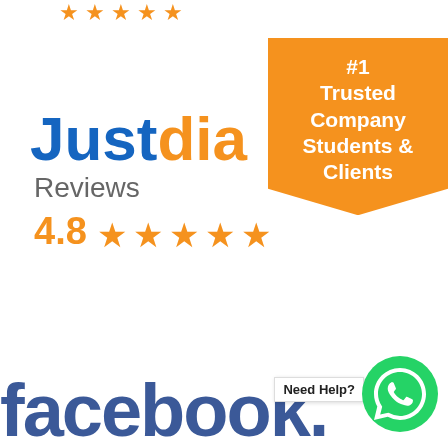[Figure (logo): Partial star rating row cropped at top of page (orange/gold stars on white)]
[Figure (infographic): Orange banner ribbon with white bold text: #1 Trusted Company Students & Clients]
[Figure (logo): Justdial logo — 'Just' in blue, 'dia' in orange — with 'Reviews' subtitle in gray and rating '4.8' with 5 gold stars]
[Figure (logo): Facebook logo text in dark blue at bottom of page]
Need Help?
[Figure (logo): WhatsApp green circle icon with chat bubble]